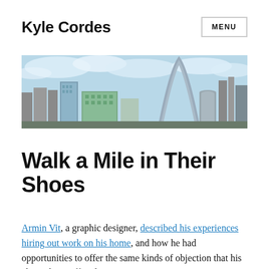Kyle Cordes | MENU
[Figure (photo): City skyline photo with the St. Louis Gateway Arch visible against a blue sky with clouds, surrounded by downtown buildings]
Walk a Mile in Their Shoes
Armin Vit, a graphic designer, described his experiences hiring out work on his home, and how he had opportunities to offer the same kinds of objection that his clients have offered: